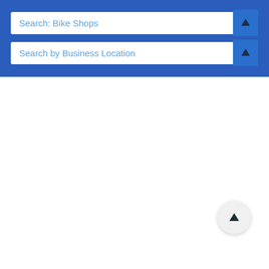Search: Bike Shops
Search by Business Location
[Figure (screenshot): Scroll-to-top floating action button with an upward arrow icon]